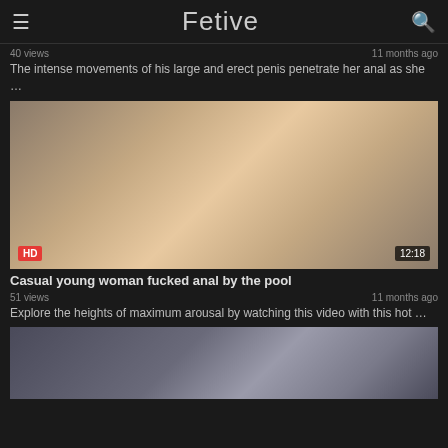Fetive
40 views · 11 months ago
The intense movements of his large and erect penis penetrate her anal as she …
[Figure (photo): Video thumbnail showing adult content, HD badge bottom-left, 12:18 duration badge bottom-right]
Casual young woman fucked anal by the pool
51 views · 11 months ago
Explore the heights of maximum arousal by watching this video with this hot …
[Figure (photo): Video thumbnail showing adult content, partial view of young woman]